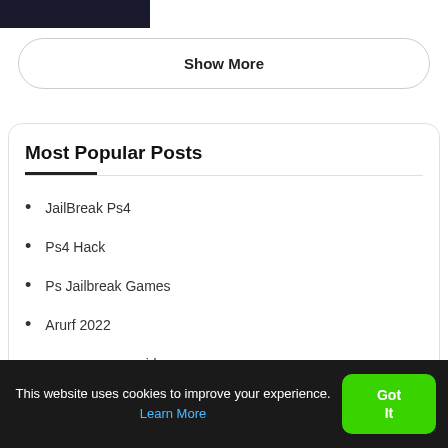[Figure (photo): Dark thumbnail image showing a game scene with red/orange lighting and a character silhouette]
Show More
Most Popular Posts
JailBreak Ps4
Ps4 Hack
Ps Jailbreak Games
Arurf 2022
r user games spiderman
This website uses cookies to improve your experience. Learn More  Got It